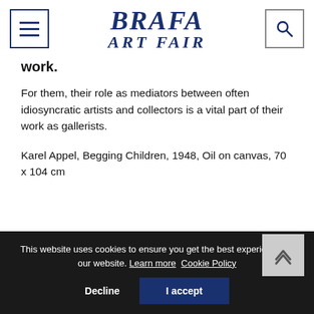[Figure (logo): BRAFA ART FAIR logo with menu hamburger icon on left and search icon on right]
work.
For them, their role as mediators between often idiosyncratic artists and collectors is a vital part of their work as gallerists.
Karel Appel, Begging Children, 1948, Oil on canvas, 70 x 104 cm
This website uses cookies to ensure you get the best experience on our website. Learn more  Cookie Policy
Decline
I accept